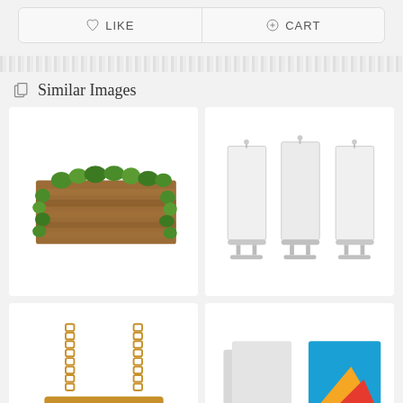[Figure (screenshot): UI buttons row: heart icon LIKE button and plus icon CART button]
Similar Images
[Figure (illustration): Wooden sign board covered with green ivy vines illustration]
[Figure (illustration): Three blank white roll-up banner stands illustration]
[Figure (illustration): Hanging wooden sign board with chains illustration (partially visible)]
[Figure (illustration): Partially visible illustration with grey and colorful elements (bottom right)]